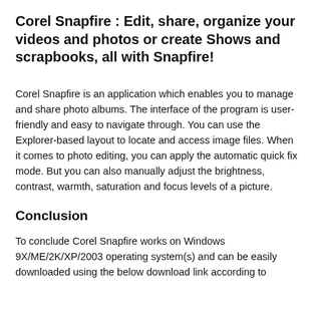Corel Snapfire : Edit, share, organize your videos and photos or create Shows and scrapbooks, all with Snapfire!
Corel Snapfire is an application which enables you to manage and share photo albums. The interface of the program is user-friendly and easy to navigate through. You can use the Explorer-based layout to locate and access image files. When it comes to photo editing, you can apply the automatic quick fix mode. But you can also manually adjust the brightness, contrast, warmth, saturation and focus levels of a picture.
Conclusion
To conclude Corel Snapfire works on Windows 9X/ME/2K/XP/2003 operating system(s) and can be easily downloaded using the below download link according to